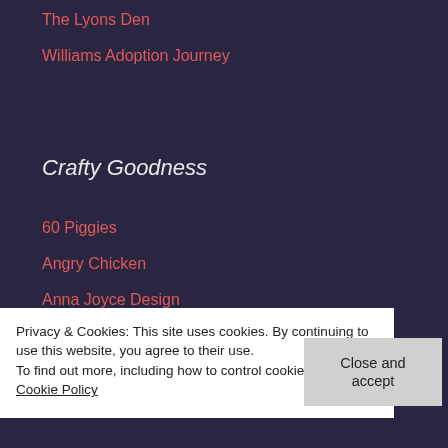The Lyons Den
Williams Adoption Journey
Crafty Goodness
60 Piggies
Angry Chicken
Anna Joyce Design
Blinkin Blog
Bolt Neighborhood Blog
Privacy & Cookies: This site uses cookies. By continuing to use this website, you agree to their use.
To find out more, including how to control cookies, see here: Cookie Policy
Close and accept